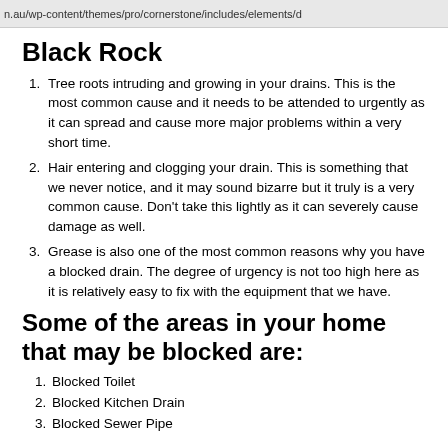n.au/wp-content/themes/pro/cornerstone/includes/elements/d
Black Rock
Tree roots intruding and growing in your drains. This is the most common cause and it needs to be attended to urgently as it can spread and cause more major problems within a very short time.
Hair entering and clogging your drain. This is something that we never notice, and it may sound bizarre but it truly is a very common cause. Don't take this lightly as it can severely cause damage as well.
Grease is also one of the most common reasons why you have a blocked drain. The degree of urgency is not too high here as it is relatively easy to fix with the equipment that we have.
Some of the areas in your home that may be blocked are:
Blocked Toilet
Blocked Kitchen Drain
Blocked Sewer Pipe